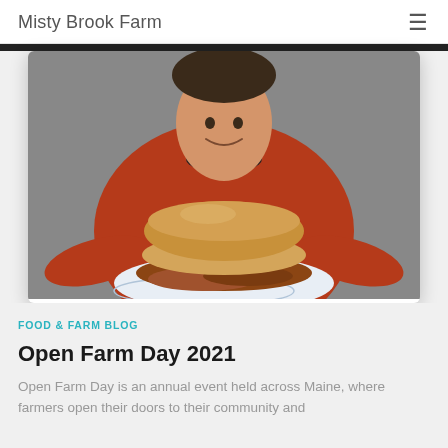Misty Brook Farm
[Figure (photo): A child in a red long-sleeve shirt holding a plate with a large pulled pork sandwich on a bun]
FOOD & FARM BLOG
Open Farm Day 2021
Open Farm Day is an annual event held across Maine, where farmers open their doors to their community and